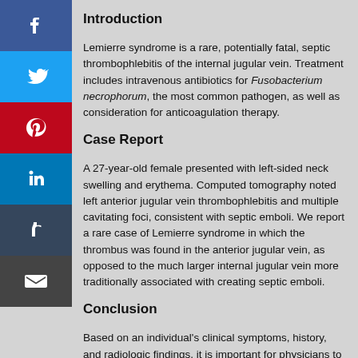Introduction
Lemierre syndrome is a rare, potentially fatal, septic thrombophlebitis of the internal jugular vein. Treatment includes intravenous antibiotics for Fusobacterium necrophorum, the most common pathogen, as well as consideration for anticoagulation therapy.
Case Report
A 27-year-old female presented with left-sided neck swelling and erythema. Computed tomography noted left anterior jugular vein thrombophlebitis and multiple cavitating foci, consistent with septic emboli. We report a rare case of Lemierre syndrome in which the thrombus was found in the anterior jugular vein, as opposed to the much larger internal jugular vein more traditionally associated with creating septic emboli.
Conclusion
Based on an individual's clinical symptoms, history, and radiologic findings, it is important for physicians to consider Lemierre syndrome in the differential diagnosis, as the condition may rapidly